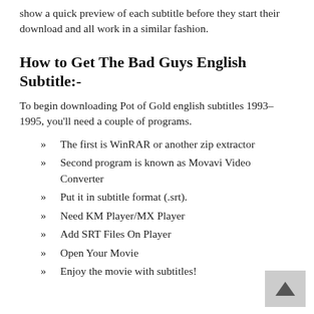show a quick preview of each subtitle before they start their download and all work in a similar fashion.
How to Get The Bad Guys English Subtitle:-
To begin downloading Pot of Gold english subtitles 1993–1995, you'll need a couple of programs.
The first is WinRAR or another zip extractor
Second program is known as Movavi Video Converter
Put it in subtitle format (.srt).
Need KM Player/MX Player
Add SRT Files On Player
Open Your Movie
Enjoy the movie with subtitles!